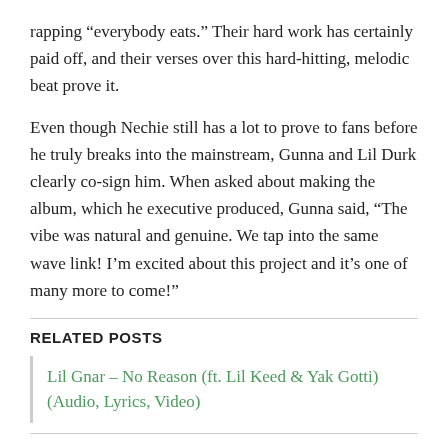rapping “everybody eats.” Their hard work has certainly paid off, and their verses over this hard-hitting, melodic beat prove it.
Even though Nechie still has a lot to prove to fans before he truly breaks into the mainstream, Gunna and Lil Durk clearly co-sign him. When asked about making the album, which he executive produced, Gunna said, “The vibe was natural and genuine. We tap into the same wave link! I’m excited about this project and it’s one of many more to come!”
RELATED POSTS
Lil Gnar – No Reason (ft. Lil Keed & Yak Gotti) (Audio, Lyrics, Video)
Shady Baby is the culmination of Nechie’s work and features on albums like Gunna’s WUNNA and Young Thug’s YSL Records compilation Slime Language. It seems as though Nechie finally has